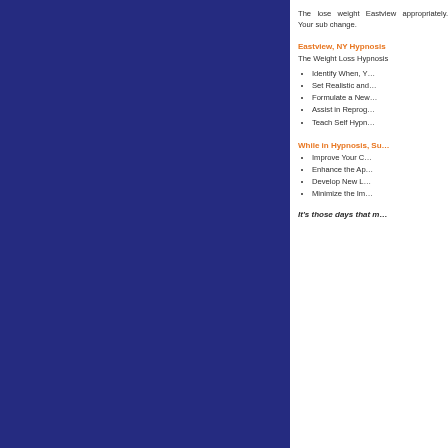[Figure (other): Dark navy/blue decorative panel occupying the left portion of the page]
The lose weight Eastvi... appropriately. Your sub... change.
Eastview, NY Hypnosi...
The Weight Loss Hypno...
Identify When, Y...
Set Realistic and...
Formulate a Ne...
Assist in Reprog...
Teach Self Hyp...
While in Hypnosis, Su...
Improve Your C...
Enhance the Ap...
Develop New L...
Minimize the Im...
It's those days that m...